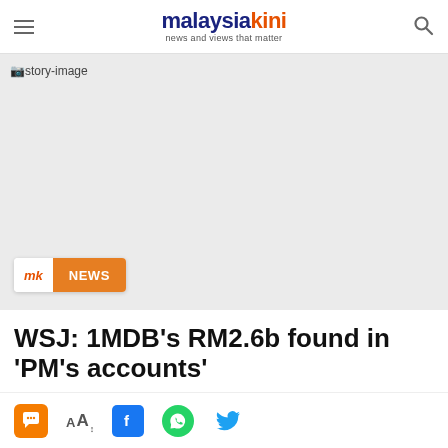malaysiakini — news and views that matter
[Figure (screenshot): Story image placeholder area with light grey background labeled 'story-image']
WSJ: 1MDB's RM2.6b found in 'PM's accounts'
Social sharing bar with comment, font-size, Facebook, WhatsApp, and Twitter icons